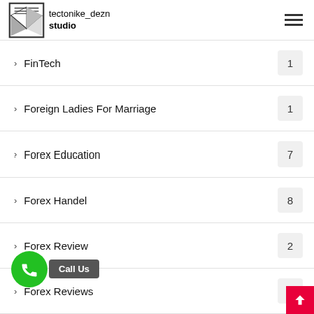tectonike_dezn studio
FinTech
Foreign Ladies For Marriage
Forex Education
Forex Handel
Forex Review
Forex Reviews
ls for dating
girls for marriage